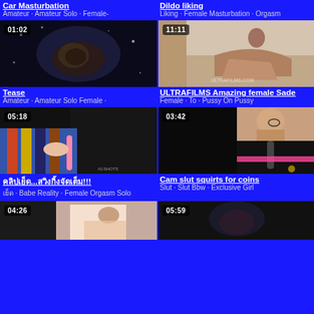Car Masturbation
Amateur · Amateur Solo · Female-
Dildo liking
Liking · Female Masturbation · Orgasm
[Figure (photo): Video thumbnail 01:02 close-up]
[Figure (photo): Video thumbnail 11:11 woman on sofa]
Tease
Amateur · Amateur Solo Female ·
ULTRAFILMS Amazing female Sade
Female · To · Pussy On Pussy
[Figure (photo): Video thumbnail 05:18]
[Figure (photo): Video thumbnail 03:42]
คลิปเย็ด...สวิงกิ้งจัดเต็ม!!!
เย็ด · Babe Reality · Female Orgasm Solo
Cam slut squirts for coins
Slut · Slut Bbw · Exclusive Girl
[Figure (photo): Video thumbnail 04:26]
[Figure (photo): Video thumbnail 05:59]